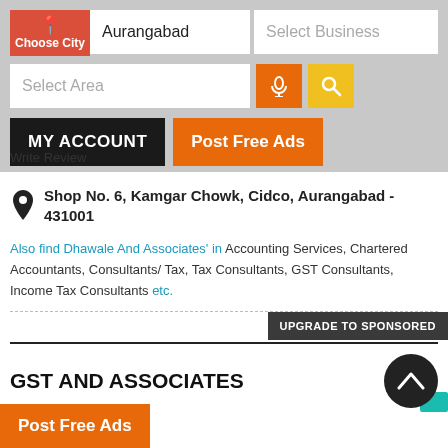[Figure (screenshot): Mobile app UI showing Choose City button, Aurangabad city input, Select Business input, Select Area input with mic and search buttons, MY ACCOUNT and Post Free Ads action buttons, Write Review link]
Write Review
Shop No. 6, Kamgar Chowk, Cidco, Aurangabad - 431001
Also find Dhawale And Associates' in Accounting Services, Chartered Accountants, Consultants/ Tax, Tax Consultants, GST Consultants, Income Tax Consultants etc.
UPGRADE TO SPONSORED
GST AND ASSOCIATES
Post Free Ads